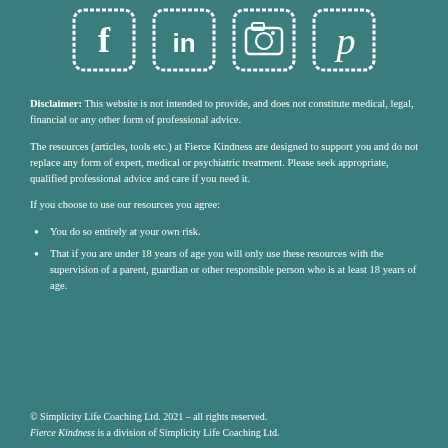[Figure (illustration): Four social media icons in sketchy hand-drawn style: Facebook (f), LinkedIn (in), Instagram (camera), Pinterest (p), each in a rounded rectangle frame on teal background]
Disclaimer: This website is not intended to provide, and does not constitute medical, legal, financial or any other form of professional advice.
The resources (articles, tools etc.) at Fierce Kindness are designed to support you and do not replace any form of expert, medical or psychiatric treatment. Please seek appropriate, qualified professional advice and care if you need it.
If you choose to use our resources you agree:
You do so entirely at your own risk.
That if you are under 18 years of age you will only use these resources with the supervision of a parent, guardian or other responsible person who is at least 18 years of age.
© Simplicity Life Coaching Ltd. 2021 – all rights reserved. Fierce Kindness is a division of Simplicity Life Coaching Ltd.